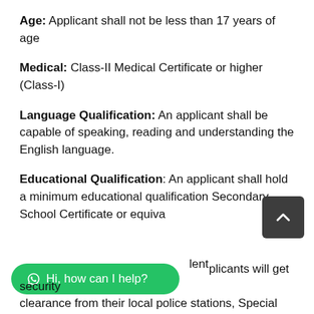Age: Applicant shall not be less than 17 years of age
Medical: Class-II Medical Certificate or higher (Class-I)
Language Qualification: An applicant shall be capable of speaking, reading and understanding the English language.
Educational Qualification: An applicant shall hold a minimum educational qualification Secondary School Certificate or equivalent
applicants will get security clearance from their local police stations, Special